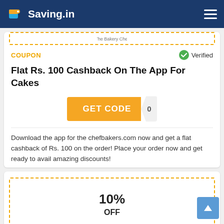Saving.in
COUPON
Verified
Flat Rs. 100 Cashback On The App For Cakes
GET CODE
Download the app for the chefbakers.com now and get a flat cashback of Rs. 100 on the order! Place your order now and get ready to avail amazing discounts!
10% OFF